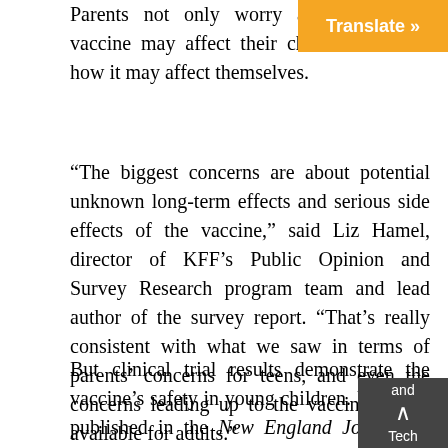Parents not only worry about how the vaccine may affect their children but also how it may affect themselves.
“The biggest concerns are about potential unknown long-term effects and serious side effects of the vaccine,” said Liz Hamel, director of KFF’s Public Opinion and Survey Research program team and lead author of the survey report. “That’s really consistent with what we saw in terms of parents’ concerns for teens, and even the concerns leading up to the vaccines being available for adults.”
But clinical trial results demonstrate the vaccine’s safety in young children. Research published in the New England Journal of Medicine (NEJM) and funded by BNT162b2 makers Pfizer and BioNTech found no serious vaccine-related adverse effects